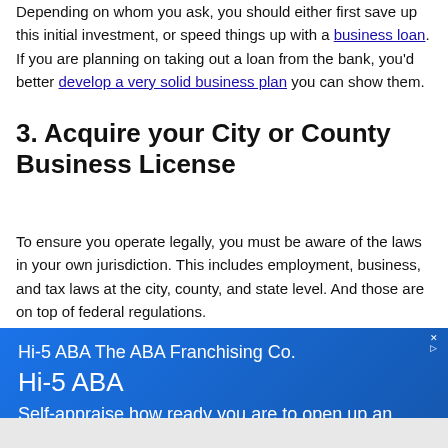Depending on whom you ask, you should either first save up this initial investment, or speed things up with a business loan. If you are planning on taking out a loan from the bank, you'd better develop a very solid business plan you can show them.
3. Acquire your City or County Business License
To ensure you operate legally, you must be aware of the laws in your own jurisdiction. This includes employment, business, and tax laws at the city, county, and state level. And those are on top of federal regulations.
[Figure (other): Advertisement banner for Hi-5 ABA The ABA Franchising Co. with text 'Hi-5 ABA' and 'Self-appraise how ready you are to open up an ABA business. Take the 3 minute quiz.' on a blue gradient background.]